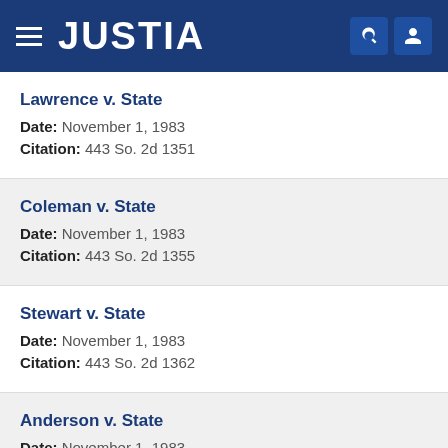JUSTIA
Lawrence v. State
Date: November 1, 1983
Citation: 443 So. 2d 1351
Coleman v. State
Date: November 1, 1983
Citation: 443 So. 2d 1355
Stewart v. State
Date: November 1, 1983
Citation: 443 So. 2d 1362
Anderson v. State
Date: November 1, 1983